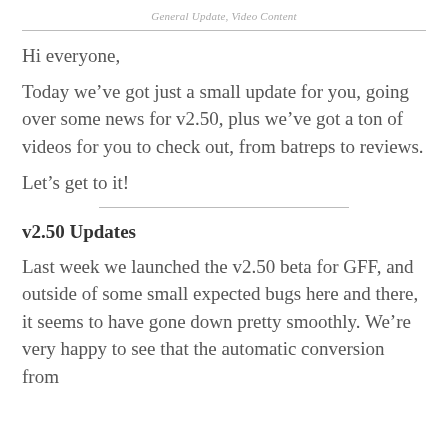General Update, Video Content
Hi everyone,
Today we’ve got just a small update for you, going over some news for v2.50, plus we’ve got a ton of videos for you to check out, from batreps to reviews.
Let’s get to it!
v2.50 Updates
Last week we launched the v2.50 beta for GFF, and outside of some small expected bugs here and there, it seems to have gone down pretty smoothly. We’re very happy to see that the automatic conversion from